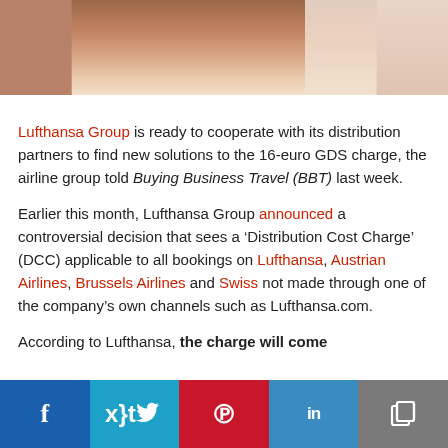[Figure (photo): Cropped photo of a person, warm tones, partial view at top of page]
Lufthansa Group is ready to cooperate with its distribution partners to find new solutions to the 16-euro GDS charge, the airline group told Buying Business Travel (BBT) last week.
Earlier this month, Lufthansa Group announced a controversial decision that sees a ‘Distribution Cost Charge’ (DCC) applicable to all bookings on Lufthansa, Austrian Airlines, Brussels Airlines and Swiss not made through one of the company’s own channels such as Lufthansa.com.
According to Lufthansa, the charge will come
[Figure (infographic): Social media sharing bar with Facebook, Twitter, Pinterest, LinkedIn, and Copy icons]